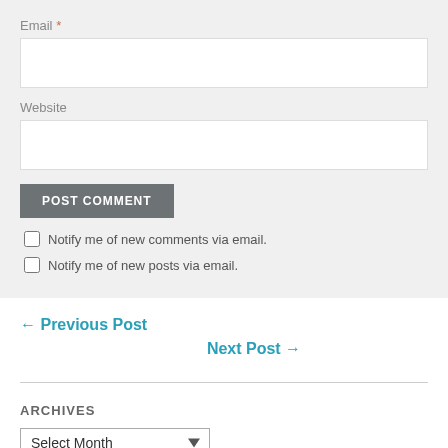Email *
Website
POST COMMENT
Notify me of new comments via email.
Notify me of new posts via email.
← Previous Post
Next Post →
ARCHIVES
Select Month